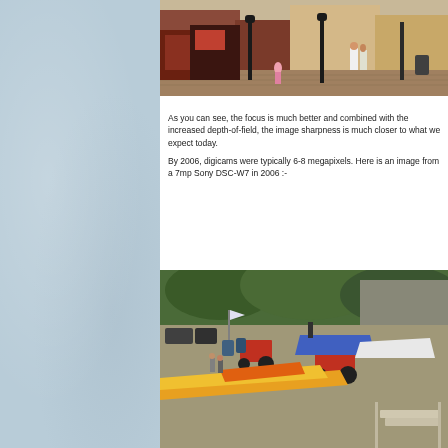[Figure (photo): Street scene photo showing people walking on a wooden boardwalk with market stalls, red and black lamp posts, and buildings in the background.]
As you can see, the focus is much better and combined with the increased depth-of-field, the image sharpness is much closer to what we expect today.

By 2006, digicams were typically 6-8 megapixels. Here is an image from a 7mp Sony DSC-W7 in 2006 :-
[Figure (photo): Harbor/boatyard scene showing kayaks in the foreground, red tractors, various boats including a blue boat, parked cars, and trees/cliffs in the background.]